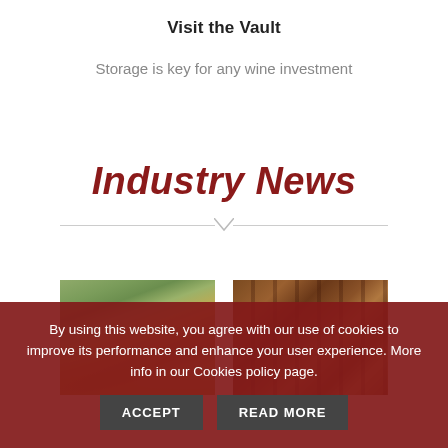Visit the Vault
Storage is key for any wine investment
Industry News
[Figure (photo): Two news article thumbnail images: left shows a vineyard landscape with rolling hills and cultivated rows; right shows wine barrels stacked in a cellar.]
By using this website, you agree with our use of cookies to improve its performance and enhance your user experience. More info in our Cookies policy page.
ACCEPT
READ MORE